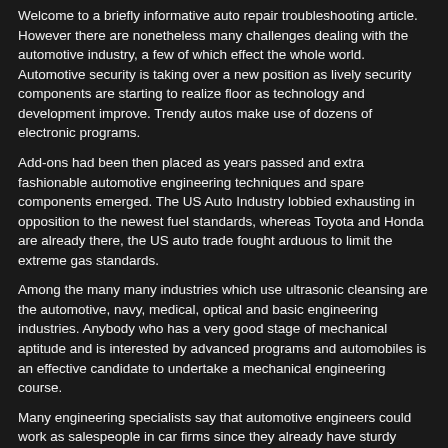Welcome to a briefly informative auto repair troubleshooting article. However there are nonetheless many challenges dealing with the automotive industry, a few of which effect the whole world. Automotive security is taking over a new position as lively security components are starting to realize floor as technology and development improve. Trendy autos make use of dozens of electronic programs.
Add-ons had been then placed as years passed and extra fashionable automotive engineering techniques and spare components emerged. The US Auto Industry lobbied exhausting in opposition to the newest fuel standards, whereas Toyota and Honda are already there, the US auto trade fought arduous to limit the extreme gas standards.
Among the many many industries which use ultrasonic cleansing are the automotive, navy, medical, optical and basic engineering industries. Anybody who has a very good stage of mechanical aptitude and is interested by advanced programs and automobiles is an effective candidate to undertake a mechanical engineering course.
Many engineering specialists say that automotive engineers could work as salespeople in car firms since they already have sturdy technical backgrounds. Working with an assortment of speedy prototyping equipment, automotive prototyping engineers make the most of probably the most superior 3D printers, in their quest for perfect type, perform and utility.
Automotive Engineer Job Profile...